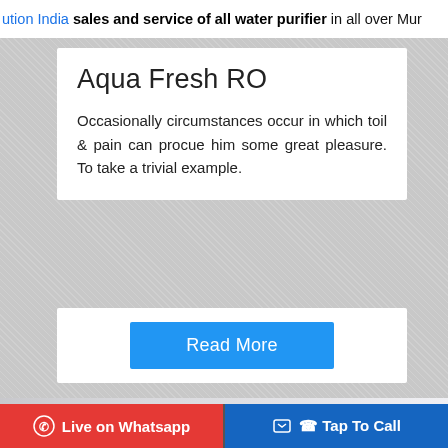ution India sales and service of all water purifier in all over Mur
Aqua Fresh RO
Occasionally circumstances occur in which toil & pain can procue him some great pleasure. To take a trivial example.
Read More
[Figure (photo): Photo of a young girl with dark hair in a ponytail, with an Aqua Grand logo overlay in the bottom right corner]
Live on Whatsapp
Tap To Call